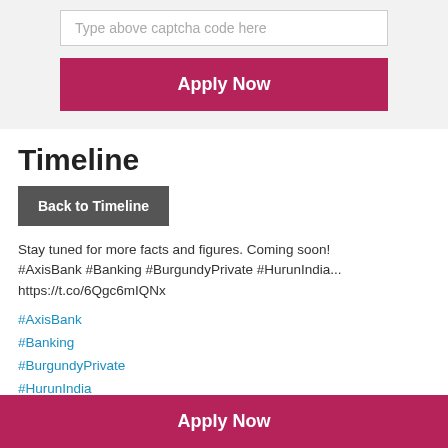[Figure (screenshot): Captcha input field with placeholder text 'Type above captcha code here']
[Figure (screenshot): Apply Now button in burgundy/maroon color]
Timeline
[Figure (screenshot): Dark gray button labeled 'Back to Timeline']
Stay tuned for more facts and figures. Coming soon! #AxisBank #Banking #BurgundyPrivate #HurunIndia... https://t.co/6Qgc6mIQNx
#AxisBank
#Banking
#BurgundyPrivate
#HurunIndia
Posted on : 09 Dec 2021
[Figure (infographic): Social share icons: Facebook, Pinterest, LinkedIn; scroll to top button (burgundy circle with up arrow)]
Apply Now